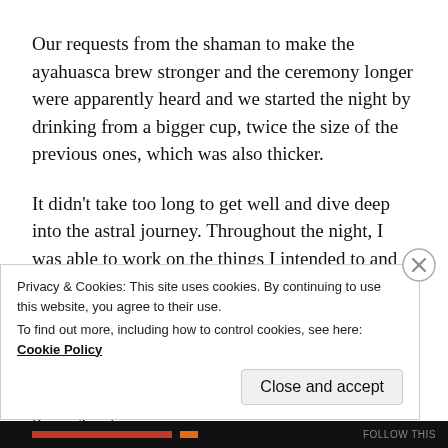Our requests from the shaman to make the ayahuasca brew stronger and the ceremony longer were apparently heard and we started the night by drinking from a bigger cup, twice the size of the previous ones, which was also thicker.
It didn't take too long to get well and dive deep into the astral journey. Throughout the night, I was able to work on the things I intended to and found answers to a lot of questions in my head. I saw my future family and sent blessings to every single person that had been in my life. I truly enjoyed the 5-hour ceremony minus the flying cockroaches that hit our faces right and left all throughout
Privacy & Cookies: This site uses cookies. By continuing to use this website, you agree to their use.
To find out more, including how to control cookies, see here: Cookie Policy
Close and accept